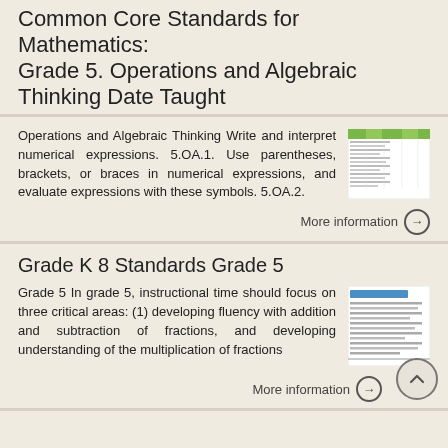Common Core Standards for Mathematics: Grade 5. Operations and Algebraic Thinking Date Taught
Operations and Algebraic Thinking Write and interpret numerical expressions. 5.OA.1. Use parentheses, brackets, or braces in numerical expressions, and evaluate expressions with these symbols. 5.OA.2.
[Figure (screenshot): Thumbnail image of a table/spreadsheet related to grade 5 operations and algebraic thinking standards]
More information →
Grade K 8 Standards Grade 5
Grade 5 In grade 5, instructional time should focus on three critical areas: (1) developing fluency with addition and subtraction of fractions, and developing understanding of the multiplication of fractions
[Figure (screenshot): Thumbnail image of a document page related to Grade K-8 Standards Grade 5]
More information →